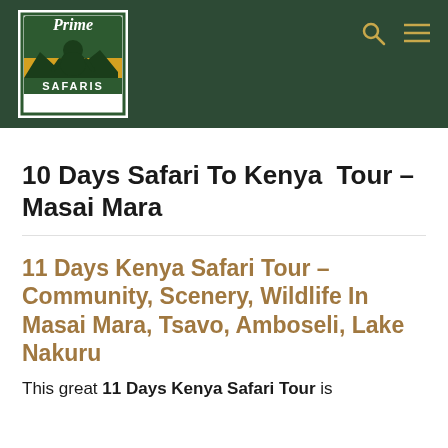[Figure (logo): Prime Safaris logo: green and yellow emblem with gorilla silhouette and mountain scenery, text 'Prime' in large letters and 'SAFARIS' below]
10 Days Safari To Kenya  Tour – Masai Mara
11 Days Kenya Safari Tour – Community, Scenery, Wildlife In Masai Mara, Tsavo, Amboseli, Lake Nakuru
This great 11 Days Kenya Safari Tour is